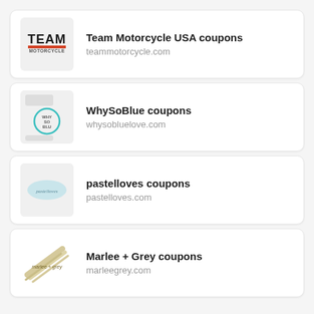[Figure (logo): Team Motorcycle USA logo — bold TEAM text with MOTORCYCLE below in red stripe]
Team Motorcycle USA coupons
teammotorcycle.com
[Figure (logo): WhySoBlue logo — circular teal border with WHY SO BLU text]
WhySoBlue coupons
whysobluelove.com
[Figure (logo): pastelloves logo — light blue oval with pastelloves text in script]
pastelloves coupons
pastelloves.com
[Figure (logo): Marlee + Grey logo — gold/beige brushstroke with marlee + grey text]
Marlee + Grey coupons
marleegrey.com